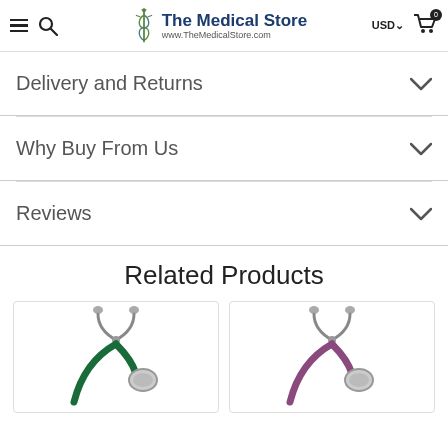The Medical Store — www.TheMedicalStore.com
Delivery and Returns
Why Buy From Us
Reviews
Related Products
[Figure (photo): Two stethoscopes side by side in product cards: one dark green and one purple/plum colored, both with chrome accents.]